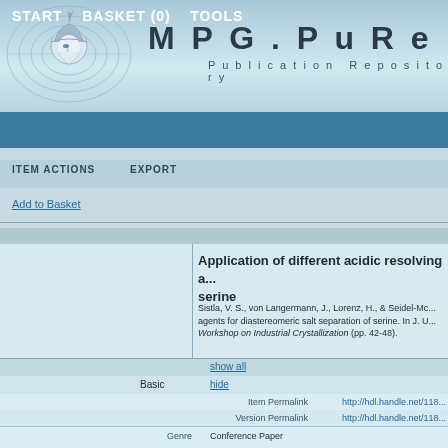[Figure (logo): MPG.PuRe Publication Repository logo with Minerva head in circles]
MPG. PuRe Publication Repository
START   BASKET (0)   TOOLS
ITEM ACTIONS   EXPORT
Add to Basket
Application of different acidic resolving a... serine
Sistla, V. S., von Langermann, J., Lorenz, H., & Seidel-Mc... agents for diastereomeric salt separation of serine. In J. U... Workshop on Industrial Crystallization (pp. 42-48).
show all
Basic   hide
Item Permalink   http://hdl.handle.net/118...
Version Permalink   http://hdl.handle.net/118...
Genre   Conference Paper